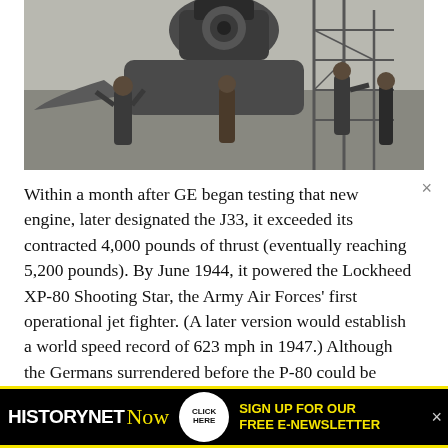[Figure (photo): Black and white photograph of mechanics or engineers working on a large jet engine mounted on a test stand or aircraft, with scaffolding/framework visible. Several men in work clothes are gathered around the engine on what appears to be an airfield.]
Within a month after GE began testing that new engine, later designated the J33, it exceeded its contracted 4,000 pounds of thrust (eventually reaching 5,200 pounds). By June 1944, it powered the Lockheed XP-80 Shooting Star, the Army Air Forces' first operational jet fighter. (A later version would establish a world speed record of 623 mph in 1947.) Although the Germans surrendered before the P-80 could be tested in combat, GE emerged
[Figure (advertisement): HistoryNet Now advertisement banner with black background and yellow border. Text reads: HISTORYNET Now CLICK HERE SIGN UP FOR OUR FREE E-NEWSLETTER]